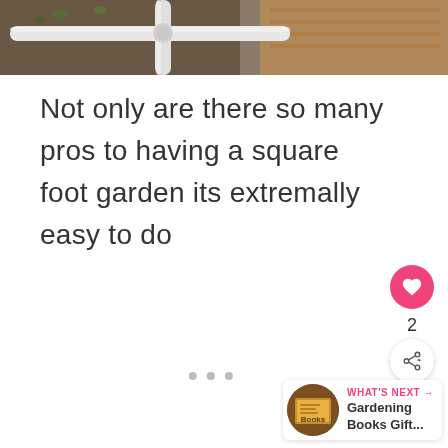[Figure (photo): Top portion of a square foot garden with PVC pipe grid and wooden frame visible against soil with small plants]
Not only are there so many pros to having a square foot garden its extremally easy to do
[Figure (infographic): UI elements: heart/like button (pink circle with heart icon), like count '2', share button (circle with share icon), three pagination dots, and 'What's Next' card with book thumbnail and text 'Gardening Books Gift...']